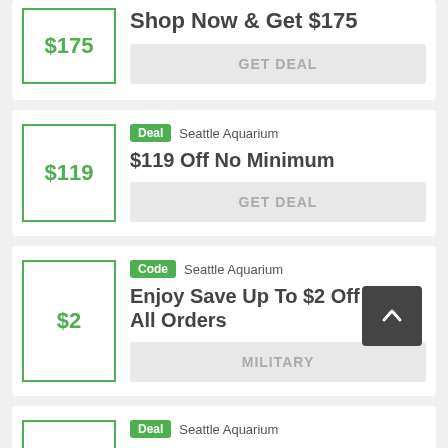$175 Shop Now & Get $175 GET DEAL (partial top card)
Deal  Seattle Aquarium  $119 Off No Minimum  GET DEAL
Code  Seattle Aquarium  Enjoy Save Up To $2 Off Your All Orders  MILITARY
Deal  Seattle Aquarium (partial bottom card)